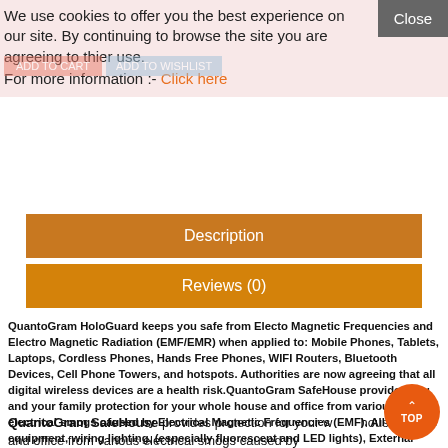We use cookies to offer you the best experience on our site. By continuing to browse the site you are agreeing to thier use.
For more information :- Click here
Description
Reviews (0)
QuantoGram HoloGuard keeps you safe from Electo Magnetic Frequencies and Electro Magnetic Radiation (EMF/EMR) when applied to: Mobile Phones, Tablets, Laptops, Cordless Phones, Hands Free Phones,  WIFI Routers, Bluetooth Devices,  Cell Phone Towers, and hotspots. Authorities are now agreeing that all digital wireless devices are a health risk.QuantoGram SafeHouse provides you and your family protection for your whole house and office from various electrical smogs caused by Electrical Magnetic Frequencies (EMF). All electrical equipment, wiring lighting, (especially fluorescent and LED lights), External WIFI signals, Bluetooth, Wifi routers, TVs, computers, and especially stronger digital signals from many sources are responsible for dangerously increasing EMF levels.
QuantoGram SafeHouse provides protection for your whole house and office from various electrical smogs caused by